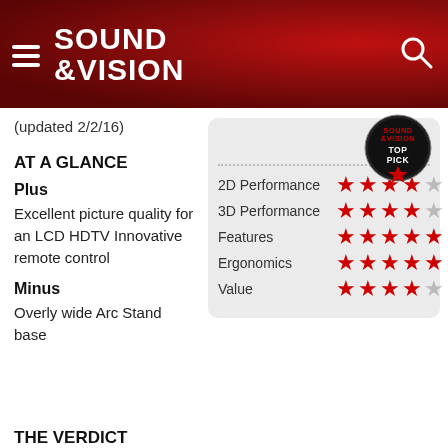SOUND & VISION
(updated 2/2/16)
AT A GLANCE
Plus
Excellent picture quality for an LCD HDTV Innovative remote control
[Figure (infographic): Top Pick badge from Sound & Vision magazine]
| Category | Rating |
| --- | --- |
| 2D Performance | 4/5 stars |
| 3D Performance | 4/5 stars |
| Features | 5/5 stars |
| Ergonomics | 5/5 stars |
| Value | 4/5 stars |
Minus
Overly wide Arc Stand base
THE VERDICT
Samsung's F8000 Series represents an evolutionary leap in the company's LCD TV offerings.